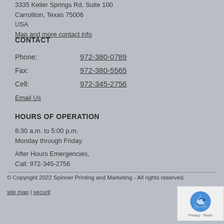3335 Keller Springs Rd, Suite 100
Carrollton, Texas 75006
USA
Map and more contact info
CONTACT
| Phone: | 972-380-0789 |
| Fax: | 972-380-5565 |
| Cell: | 972-345-2756 |
Email Us
HOURS OF OPERATION
8:30 a.m. to 5:00 p.m.
Monday through Friday.
After Hours Emergencies,
Call: 972-345-2756
© Copyright 2022 Spinner Printing and Marketing - All rights reserved.
site map | security